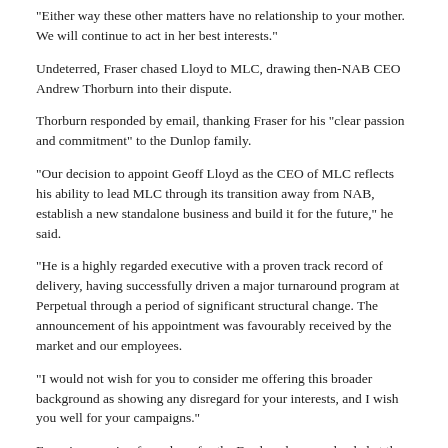“Either way these other matters have no relationship to your mother. We will continue to act in her best interests.”
Undeterred, Fraser chased Lloyd to MLC, drawing then-NAB CEO Andrew Thorburn into their dispute.
Thorburn responded by email, thanking Fraser for his “clear passion and commitment” to the Dunlop family.
“Our decision to appoint Geoff Lloyd as the CEO of MLC reflects his ability to lead MLC through its transition away from NAB, establish a new standalone business and build it for the future,” he said.
“He is a highly regarded executive with a proven track record of delivery, having successfully driven a major turnaround program at Perpetual through a period of significant structural change. The announcement of his appointment was favourably received by the market and our employees.
“I would not wish for you to consider me offering this broader background as showing any disregard for your interests, and I wish you well for your campaigns.”
Fraser’s campaign for redress for the Dunlops has now landed at the doorstep of AFCA, but it must clear the jurisdictional hurdles.